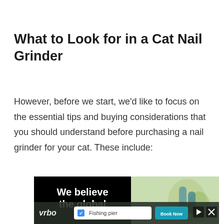What to Look for in a Cat Nail Grinder
However, before we start, we'd like to focus on the essential tips and buying considerations that you should understand before purchasing a nail grinder for your cat. These include:
[Figure (screenshot): Advertisement banner with black section showing text 'We believe the global' in white bold font, and a right section with a light green/nature background image.]
[Figure (screenshot): VRBO advertisement overlay with logo, a search bar showing 'Fishing pier' with a blue checkbox, and a teal 'Book Now' button. Navigation controls (play/close) visible on the right.]